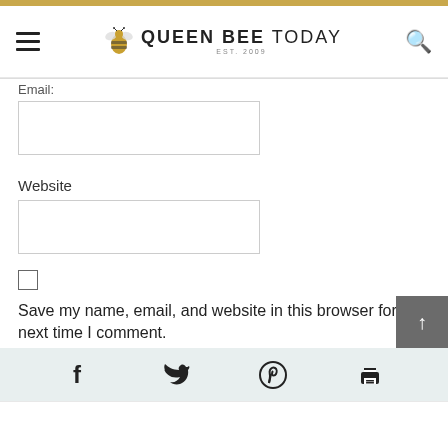QUEEN BEE TODAY EST. 2009
Email:
Website
Save my name, email, and website in this browser for the next time I comment.
POST COMMENT
[Figure (screenshot): Social sharing bar with Facebook, Twitter, Pinterest, and Print icons on a light teal background]